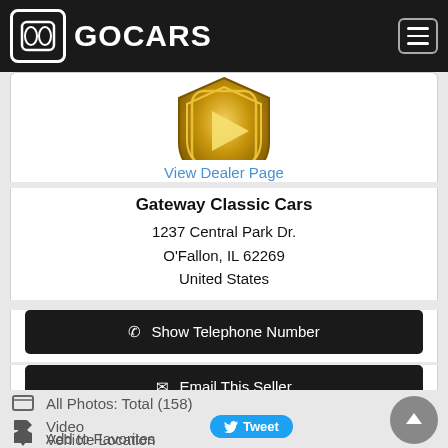GOCARS
[Figure (logo): Gateway Classic Cars gold shield/emblem logo, partially visible at top]
View Dealer Page
Gateway Classic Cars
1237 Central Park Dr.
O'Fallon, IL 62269
United States
Show Telephone Number
Email This Seller
All Photos: Total (158)
Video
Vehicle Location
Add to Favorites